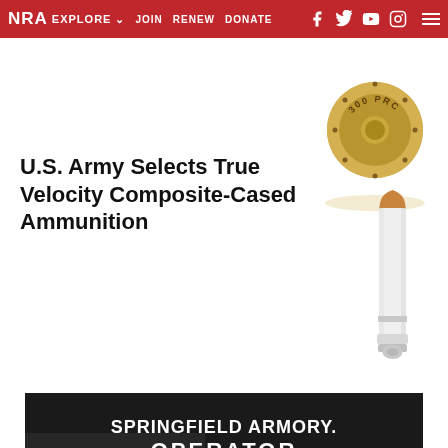NRA EXPLORE ∨ JOIN RENEW DONATE
[Figure (photo): 300 PRC cartridge headstamp viewed from the base, showing brass case with '300 PRC' engraved on the primer ring]
U.S. Army Selects True Velocity Composite-Cased Ammunition
[Figure (photo): True Velocity composite-cased rifle ammunition cartridge, white polymer case with copper-colored bullet tip, standing upright]
[Figure (photo): Springfield Armory Operator advertisement showing a 1911-style pistol with tan/FDE grips on a wooden surface with a holster, text reads 'SPRINGFIELD ARMORY. OPERATOR']